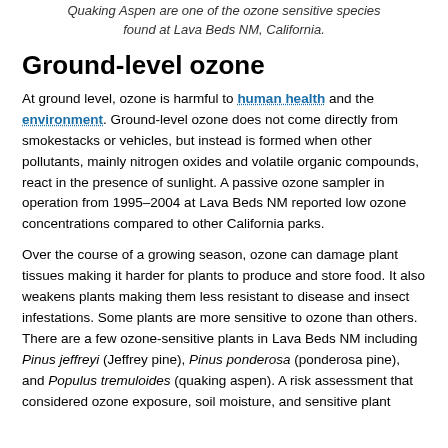Quaking Aspen are one of the ozone sensitive species found at Lava Beds NM, California.
Ground-level ozone
At ground level, ozone is harmful to human health and the environment. Ground-level ozone does not come directly from smokestacks or vehicles, but instead is formed when other pollutants, mainly nitrogen oxides and volatile organic compounds, react in the presence of sunlight. A passive ozone sampler in operation from 1995–2004 at Lava Beds NM reported low ozone concentrations compared to other California parks.
Over the course of a growing season, ozone can damage plant tissues making it harder for plants to produce and store food. It also weakens plants making them less resistant to disease and insect infestations. Some plants are more sensitive to ozone than others. There are a few ozone-sensitive plants in Lava Beds NM including Pinus jeffreyi (Jeffrey pine), Pinus ponderosa (ponderosa pine), and Populus tremuloides (quaking aspen). A risk assessment that considered ozone exposure, soil moisture, and sensitive plant